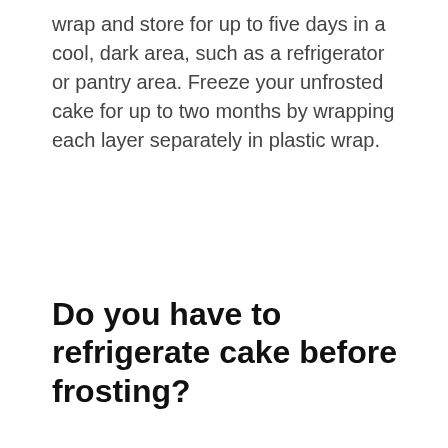wrap and store for up to five days in a cool, dark area, such as a refrigerator or pantry area. Freeze your unfrosted cake for up to two months by wrapping each layer separately in plastic wrap.
Do you have to refrigerate cake before frosting?
Advertisement